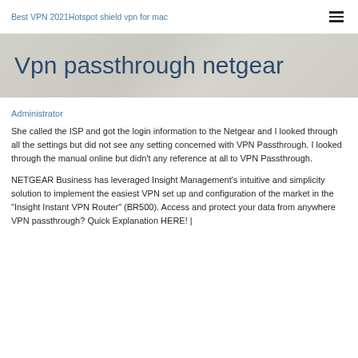Best VPN 2021Hotspot shield vpn for mac
Vpn passthrough netgear
Administrator
She called the ISP and got the login information to the Netgear and I looked through all the settings but did not see any setting concerned with VPN Passthrough. I looked through the manual online but didn't any reference at all to VPN Passthrough.
NETGEAR Business has leveraged Insight Management's intuitive and simplicity solution to implement the easiest VPN set up and configuration of the market in the "Insight Instant VPN Router" (BR500). Access and protect your data from anywhere VPN passthrough? Quick Explanation HERE! |